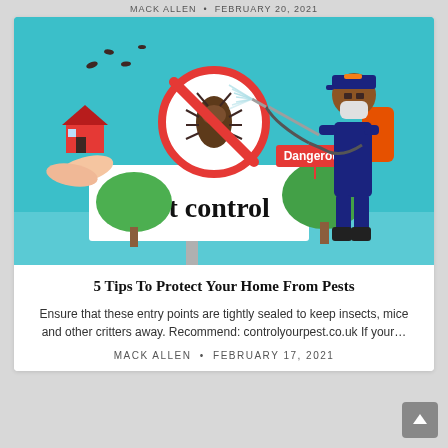MACK ALLEN • FEBRUARY 20, 2021
[Figure (illustration): Pest control illustration: a pest control worker in dark blue uniform and mask, carrying a spray backpack, spraying pesticide. In the background: a red house held by protective hands, flying insects, a no-bugs prohibition sign with a cockroach, a red 'Dangerous' label, green trees, and text 'Pest control' on a white sign.]
5 Tips To Protect Your Home From Pests
Ensure that these entry points are tightly sealed to keep insects, mice and other critters away. Recommend: controlyourpest.co.uk If your…
MACK ALLEN • FEBRUARY 17, 2021